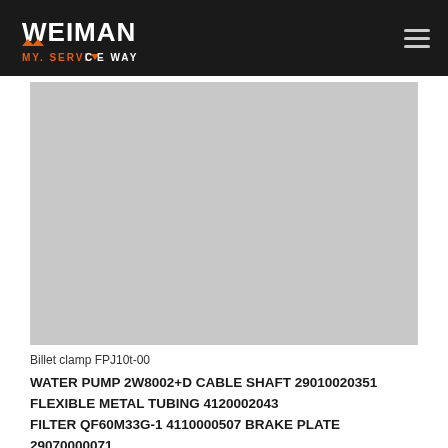WEIMAN MY. SERVICE WAY
[Figure (photo): Product photo area showing a billet clamp or mechanical part, displayed against a light grey background]
Billet clamp FPJ10t-00
WATER PUMP 2W8002+D CABLE SHAFT 29010020351
FLEXIBLE METAL TUBING 4120002043
FILTER QF60M33G-1 4110000507 BRAKE PLATE 29070000071
VENT NOZZLE 4120001749